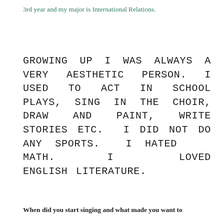3rd year and my major is International Relations.
GROWING UP I WAS ALWAYS A VERY AESTHETIC PERSON. I USED TO ACT IN SCHOOL PLAYS, SING IN THE CHOIR, DRAW AND PAINT, WRITE STORIES ETC. I DID NOT DO ANY SPORTS. I HATED MATH. I LOVED ENGLISH LITERATURE.
When did you start singing and what made you want to